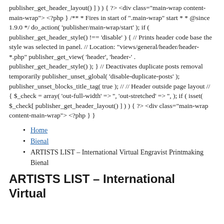publisher_get_header_layout() ] ) ) { ?> <div class="main-wrap content-main-wrap"> <?php } /** * Fires in start of ".main-wrap" start * * @since 1.9.0 */ do_action( &#039;publisher/main-wrap/start&#039; ); if ( publisher_get_header_style() !== &#039;disable&#039; ) { // Prints header code base the style was selected in panel. // Location: "views/general/header/header-*.php" publisher_get_view( &#039;header&#039;, &#039;header-&#039; . publisher_get_header_style() ); } // Deactivates duplicate posts removal temporarily publisher_unset_global( &#039;disable-duplicate-posts&#039; ); publisher_unset_blocks_title_tag( true ); // // Header outside page layout // { $_check = array( &#039;out-full-width&#039; => &#039;&#039;, &#039;out-stretched&#039; => &#039;&#039;, ); if ( isset( $_check[ publisher_get_header_layout() ] ) ) { ?> <div class="main-wrap content-main-wrap"> <?php } }
Home
Bienal
ARTISTS LIST – International Virtual Engravist Printmaking Bienal
ARTISTS LIST – International Virtual